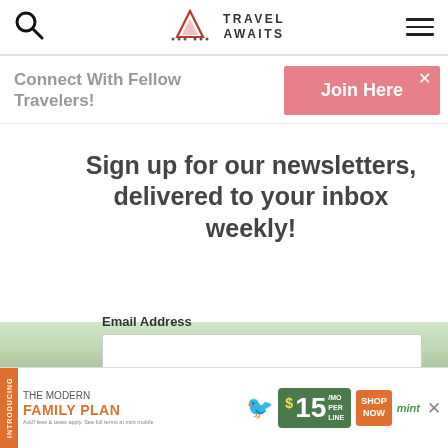Travel Awaits — navigation bar with search icon, logo, and hamburger menu
Connect With Fellow Travelers!
Join Here
Sign up for our newsletters, delivered to your inbox weekly!
Email Address
SIGN ME UP!
[Figure (screenshot): Bottom image strip showing outdoor/nature scene]
INTRODUCING THE MODERN FAMILY PLAN FROM $15/MO PER LINE SHOP NOW — mint mobile advertisement